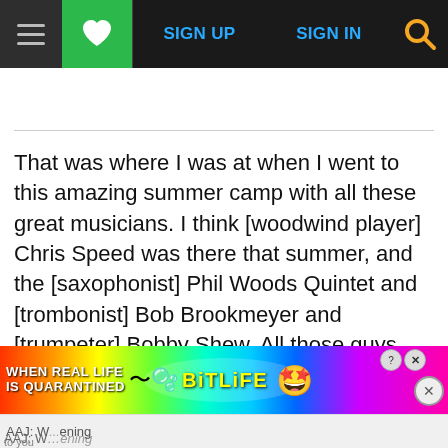SIGN UP  SIGN IN
That was where I was at when I went to this amazing summer camp with all these great musicians. I think [woodwind player] Chris Speed was there that summer, and the [saxophonist] Phil Woods Quintet and [trombonist] Bob Brookmeyer and [trumpeter] Bobby Shew. All those guys heard me play, and they were super encouraging to me. That was in July and then I had a month to get myself together and go to Berklee, which is what they were suggesting I should do.
[Figure (screenshot): BitLife advertisement banner at bottom of page: colorful rainbow gradient background with text 'WHEN REAL LIFE IS QUARANTINED' and BitLife logo with star-eyes emoji]
AAJ: W...ening to you